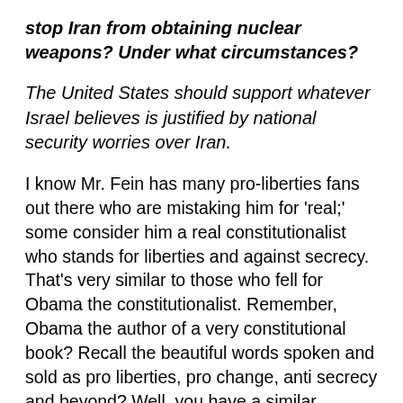stop Iran from obtaining nuclear weapons? Under what circumstances?
The United States should support whatever Israel believes is justified by national security worries over Iran.
I know Mr. Fein has many pro-liberties fans out there who are mistaking him for 'real;' some consider him a real constitutionalist who stands for liberties and against secrecy. That's very similar to those who fell for Obama the constitutionalist. Remember, Obama the author of a very constitutional book? Recall the beautiful words spoken and sold as pro liberties, pro change, anti secrecy and beyond? Well, you have a similar situation with Mr. Fein: he talks a good talk, and writes well. As for who Mr. Fein is: you are looking at a man long succumbed to foreign lobby and military industrial complex lobby dollars.